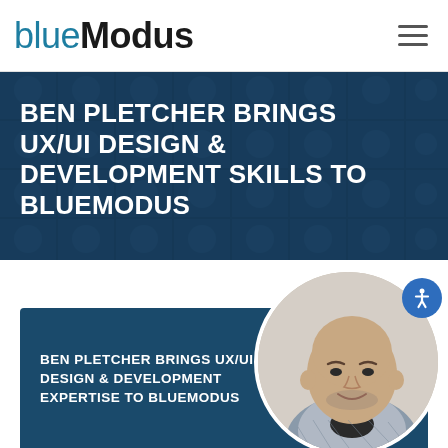blueModus
BEN PLETCHER BRINGS UX/UI DESIGN & DEVELOPMENT SKILLS TO BLUEMODUS
[Figure (photo): Hero banner with collage of faces in dark blue overlay]
[Figure (photo): Card with Ben Pletcher headshot photo in circular frame on dark blue background]
BEN PLETCHER BRINGS UX/UI DESIGN & DEVELOPMENT EXPERTISE TO BLUEMODUS
INTERESTED?
blueModus